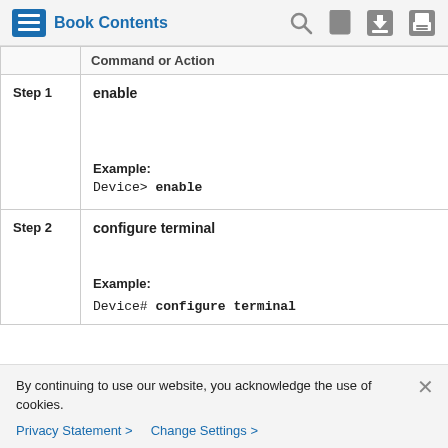Book Contents
|  | Command or Action |
| --- | --- |
| Step 1 | enable

Example:
Device> enable |
| Step 2 | configure terminal

Example:
Device# configure terminal |
By continuing to use our website, you acknowledge the use of cookies.
Privacy Statement > Change Settings >